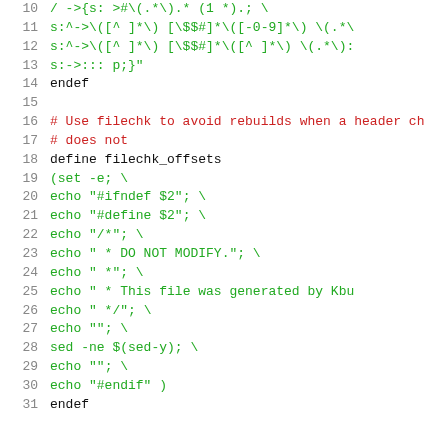[Figure (screenshot): Source code listing showing Makefile/shell script content with line numbers 10-31, containing define blocks and shell commands in green and red monospace font on white background.]